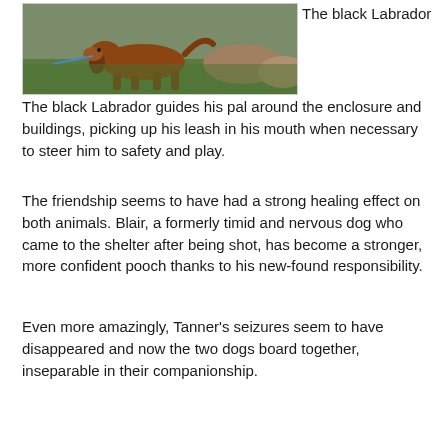[Figure (photo): A brown dog running outdoors near an enclosure with greenery and rocks in the background.]
The black Labrador guides his pal around the enclosure and buildings, picking up his leash in his mouth when necessary to steer him to safety and play.
The friendship seems to have had a strong healing effect on both animals. Blair, a formerly timid and nervous dog who came to the shelter after being shot, has become a stronger, more confident pooch thanks to his new-found responsibility.
Even more amazingly, Tanner's seizures seem to have disappeared and now the two dogs board together, inseparable in their companionship.
'We've worked with a lot of different service dogs to provide these services for people but it's the first time I've seen anything like this,' said Dr Jones.
The rescue centre is now looking for someone to adopt the two animals together.
'They absolutely have to be adopted together,' said Dr Jones. 'But it's